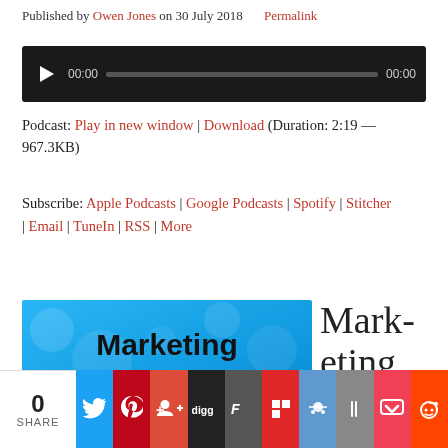Published by Owen Jones on 30 July 2018    Permalink
[Figure (other): Audio player with play button, time display 00:00, progress bar, and end time 00:00 on dark background]
Podcast: Play in new window | Download (Duration: 2:19 — 967.3KB)
Subscribe: Apple Podcasts | Google Podcasts | Spotify | Stitcher | Email | TuneIn | RSS | More
[Figure (illustration): Marketing for Small Businesses banner image with blue background and bold black text]
Marketing Your
[Figure (infographic): Social share bar with count 0 SHARE and icons for Twitter, Pinterest, Google+, Digg, Fark, Flipboard, StumbleUpon, Instapaper, Pocket, Reddit]